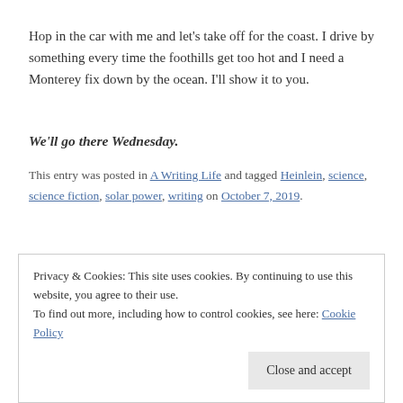Hop in the car with me and let's take off for the coast. I drive by something every time the foothills get too hot and I need a Monterey fix down by the ocean. I'll show it to you.
We'll go there Wednesday.
This entry was posted in A Writing Life and tagged Heinlein, science, science fiction, solar power, writing on October 7, 2019.
Privacy & Cookies: This site uses cookies. By continuing to use this website, you agree to their use.
To find out more, including how to control cookies, see here: Cookie Policy